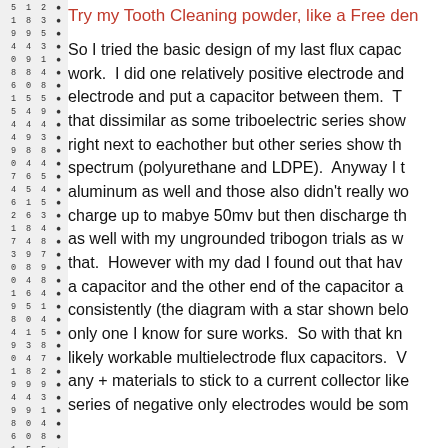Try my Tooth Cleaning powder, like a Free den
So I tried the basic design of my last flux capac work. I did one relatively positive electrode and electrode and put a capacitor between them. T that dissimilar as some triboelectric series show right next to eachother but other series show th spectrum (polyurethane and LDPE). Anyway I t aluminum as well and those also didn't really w charge up to mabye 50mv but then discharge th as well with my ungrounded tribogon trials as w that. However with my dad I found out that hav a capacitor and the other end of the capacitor a consistently (the diagram with a star shown belo only one I know for sure works. So with that kn likely workable multielectrode flux capacitors. V any + materials to stick to a current collector like series of negative only electrodes would be som